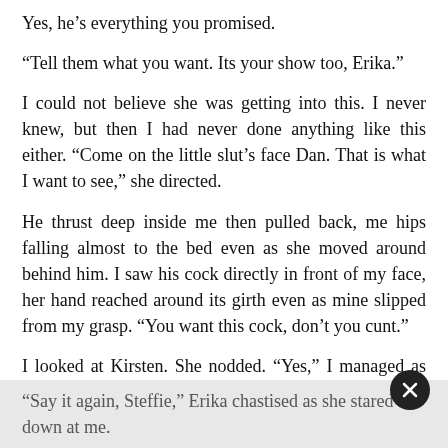Yes, he's everything you promised.
“Tell them what you want. Its your show too, Erika.”
I could not believe she was getting into this. I never knew, but then I had never done anything like this either. “Come on the little slut’s face Dan. That is what I want to see,” she directed.
He thrust deep inside me then pulled back, me hips falling almost to the bed even as she moved around behind him. I saw his cock directly in front of my face, her hand reached around its girth even as mine slipped from my grasp. “You want this cock, don’t you cunt.”
I looked at Kirsten. She nodded. “Yes,” I managed as Kirsten withdrew her cock from my mouth for a moment.
“Say it again, Steffie,” Erika chastised as she stared down at me.